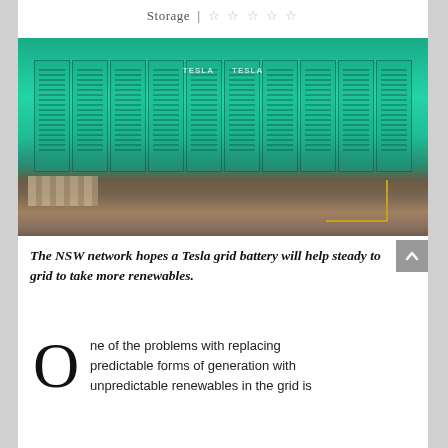Storage | ☆☆☆☆☆
[Figure (photo): Tesla grid battery storage units illuminated in green/teal light, arranged in a row, with a concrete forecourt showing a pedestrian crosswalk and yellow lines in the foreground.]
The NSW network hopes a Tesla grid battery will help steady to grid to take more renewables.
ne of the problems with replacing predictable forms of generation with unpredictable renewables in the grid is